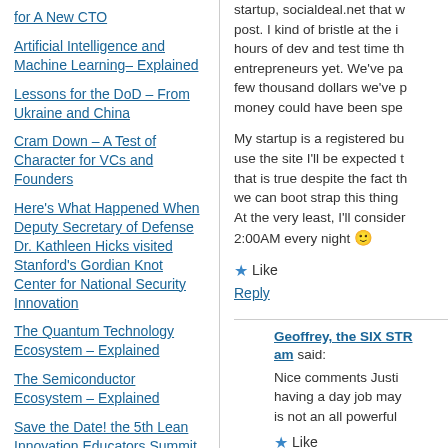for A New CTO
Artificial Intelligence and Machine Learning– Explained
Lessons for the DoD – From Ukraine and China
Cram Down – A Test of Character for VCs and Founders
Here's What Happened When Deputy Secretary of Defense Dr. Kathleen Hicks visited Stanford's Gordian Knot Center for National Security Innovation
The Quantum Technology Ecosystem – Explained
The Semiconductor Ecosystem – Explained
Save the Date! the 5th Lean Innovation Educators Summit
What's Plan B? – The Small,
startup, socialdeal.net that w... post. I kind of bristle at the i... hours of dev and test time th... entrepreneurs yet. We've pa... few thousand dollars we've p... money could have been spe...
My startup is a registered bu... use the site I'll be expected t... that is true despite the fact th... we can boot strap this thing ... At the very least, I'll consider... 2:00AM every night 🙂
Like
Reply
Geoffrey, the SIX STR... am said:
Nice comments Justi... having a day job may... is not an all powerful...
Like
Reply